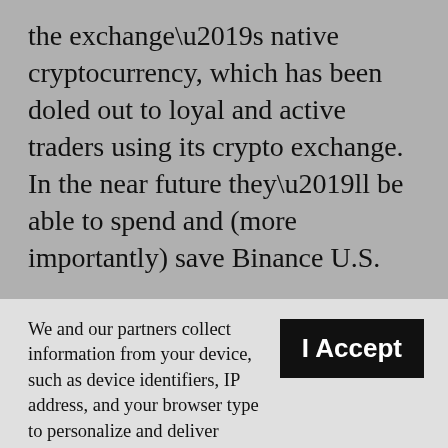the exchange’s native cryptocurrency, which has been doled out to loyal and active traders using its crypto exchange. In the near future they’ll be able to spend and (more importantly) save Binance U.S.
We and our partners collect information from your device, such as device identifiers, IP address, and your browser type to personalize and deliver content, marketing and advertising—across devices and platforms; for analytics and measurement, so we can improve our services and develop new ones; and for social features. By clicking “I accept”, you consent to our use of these Cookies. Visit our Privacy Policy to learn more.
YOUR USE OF THIS SITE SIGNIFIES YOUR AGREEMENT TO THIS PRIVACY POLICY.